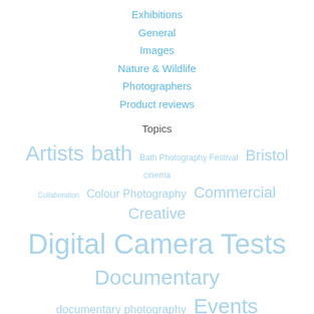Exhibitions
General
Images
Nature & Wildlife
Photographers
Product reviews
Topics
[Figure (infographic): Tag cloud showing photography-related topics in varying sizes and shades of blue, including: Artists, bath, Bath Photography Festival, Bristol, cinema, Collaboration, Colour Photography, Commercial, Creative, Digital Camera Tests, Documentary, documentary photography, Events, Exhibitions, famous images, Fashion, Festival, Film Noir, history, ideas, Inspiration, Interviews, iphone, Leica, Macro]